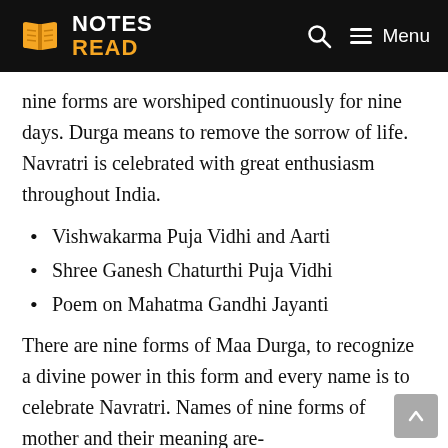NOTES READ  Menu
nine forms are worshiped continuously for nine days. Durga means to remove the sorrow of life. Navratri is celebrated with great enthusiasm throughout India.
Vishwakarma Puja Vidhi and Aarti
Shree Ganesh Chaturthi Puja Vidhi
Poem on Mahatma Gandhi Jayanti
There are nine forms of Maa Durga, to recognize a divine power in this form and every name is to celebrate Navratri. Names of nine forms of mother and their meaning are-